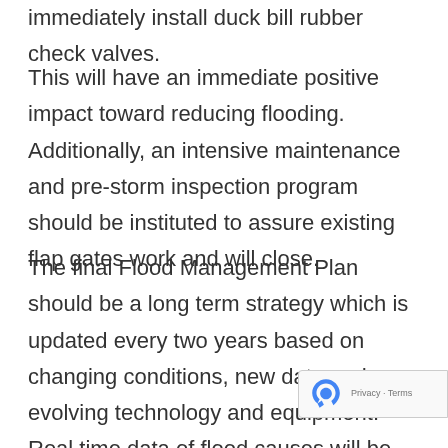immediately install duck bill rubber check valves.
This will have an immediate positive impact toward reducing flooding. Additionally, an intensive maintenance and pre-storm inspection program should be instituted to assure existing flap gates work and will close.
The final Flood Management Plan should be a long term strategy which is updated every two years based on changing conditions, new data and evolving technology and equipment. Real time data of flood causes will be vital. The SHPOA has selected to partially fund an Aug